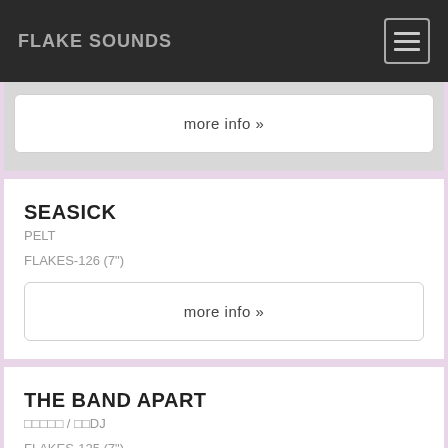FLAKE SOUNDS
more info »
SEASICK
PELT
FLAKES-126 (7")
more info »
THE BAND APART
□□□□□ / □□DJ
FLAKES-125 (7")
more info »